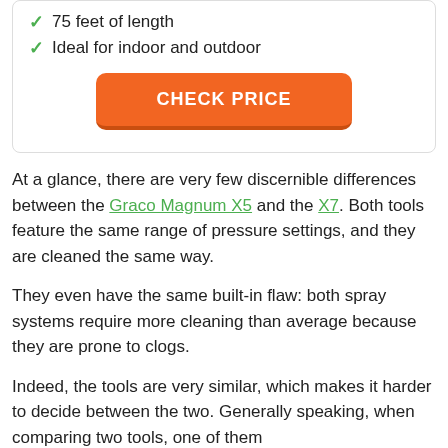75 feet of length
Ideal for indoor and outdoor
CHECK PRICE
At a glance, there are very few discernible differences between the Graco Magnum X5 and the X7. Both tools feature the same range of pressure settings, and they are cleaned the same way.
They even have the same built-in flaw: both spray systems require more cleaning than average because they are prone to clogs.
Indeed, the tools are very similar, which makes it harder to decide between the two. Generally speaking, when comparing two tools, one of them